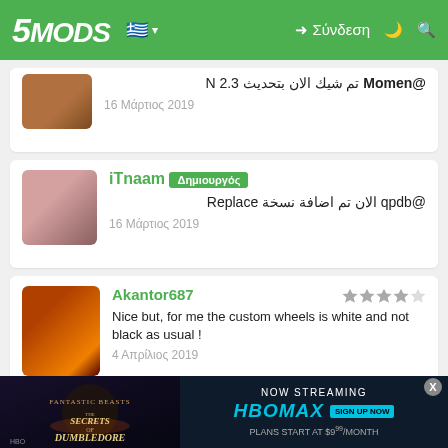5MODS — Navigation header with logo, Greek flag, Σύνδεση login link, dark mode and search icons
@Momen تم شيك الان بتحديث 2.3 N
16 Μάρτιος 2019
iTnaam Δημιουργός
@qpdb الان تم اضافة نسخة Replace
16 Μάρτιος 2019
Akantor687 — 3.5 stars — Nice but, for me the custom wheels is white and not black as usual !
4 Απρίλιος 2019
Bud_Spencer18 — 5 stars — @iTnaam This Landcruiser is awesome, I like the interior which looks very modern. I see this isn't an older model. mod!
[Figure (screenshot): Advertisement banner for Fantastic Beasts: The Secrets of Dumbledore on HBO Max - Now Streaming, HBOMAX, SIGN UP NOW, Plans start at $9.99/month]